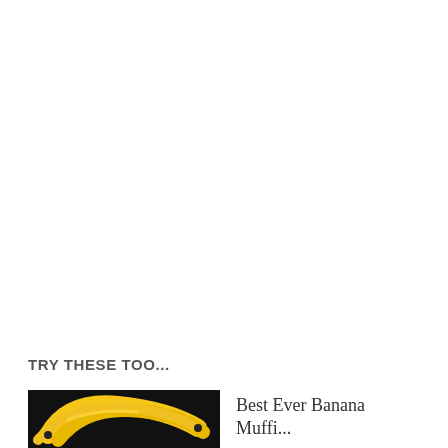TRY THESE TOO...
[Figure (photo): Photo of bananas on a dark background]
Best Ever Banana Muffi...